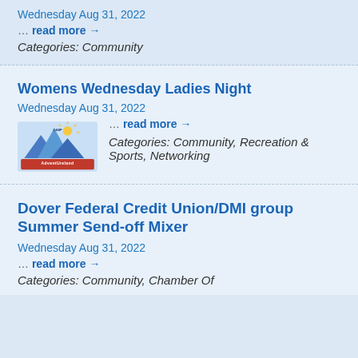Wednesday Aug 31, 2022
… read more →
Categories: Community
Womens Wednesday Ladies Night
Wednesday Aug 31, 2022
… read more →
[Figure (logo): Camp Adventureland logo with mountains and colorful text]
Categories: Community, Recreation & Sports, Networking
Dover Federal Credit Union/DMI group Summer Send-off Mixer
Wednesday Aug 31, 2022
… read more →
Categories: Community, Chamber Of